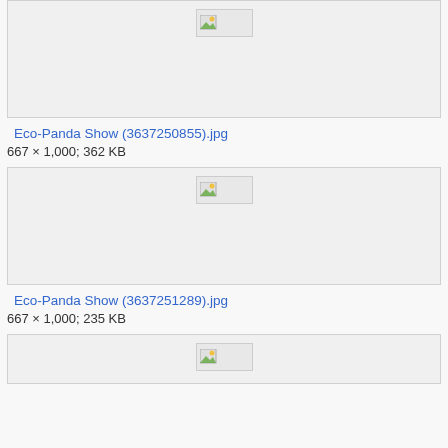[Figure (photo): Broken image placeholder for Eco-Panda Show (3637250855).jpg]
Eco-Panda Show (3637250855).jpg
667 × 1,000; 362 KB
[Figure (photo): Broken image placeholder for Eco-Panda Show (3637251289).jpg]
Eco-Panda Show (3637251289).jpg
667 × 1,000; 235 KB
[Figure (photo): Broken image placeholder for a third image (partially visible)]